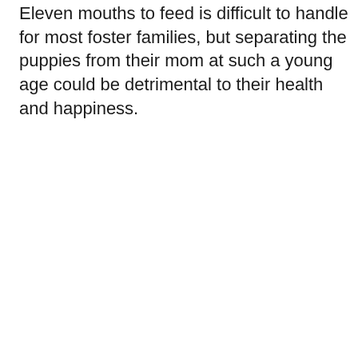Eleven mouths to feed is difficult to handle for most foster families, but separating the puppies from their mom at such a young age could be detrimental to their health and happiness.